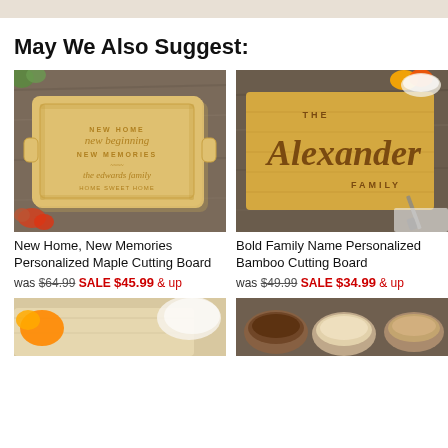May We Also Suggest:
[Figure (photo): Personalized maple cutting board with engraved text: NEW HOME new beginning NEW MEMORIES the edwards family HOME SWEET HOME]
New Home, New Memories Personalized Maple Cutting Board
was $64.99 SALE $45.99 & up
[Figure (photo): Bamboo cutting board with engraved bold family name: THE Alexander FAMILY, with colorful peppers and knife in background]
Bold Family Name Personalized Bamboo Cutting Board
was $49.99 SALE $34.99 & up
[Figure (photo): Bottom left partial product image showing cutting board with orange pepper]
[Figure (photo): Bottom right partial product image showing spices and ingredients in bowls]